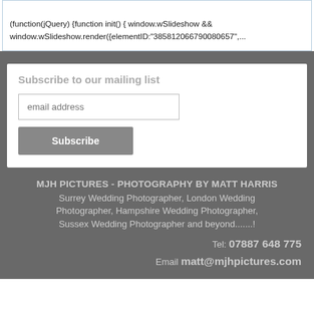(function(jQuery) {function init() { window.wSlideshow && window.wSlideshow.render({elementID:"385812066790080657",...
Subscribe to our mailing list
email address
Subscribe
MJH PICTURES - PHOTOGRAPHY BY MATT HARRIS Surrey Wedding Photographer, London Wedding Photographer, Hampshire Wedding Photographer, Sussex Wedding Photographer and beyond.......! Tel: 07887 648 775 Email matt@mjhpictures.com